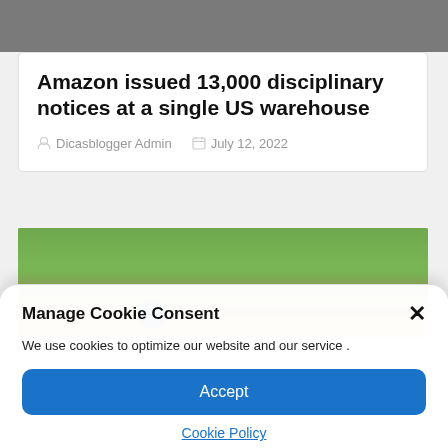[Figure (photo): Top portion of a photo showing people's faces, partially cropped at the top of the page]
Amazon issued 13,000 disciplinary notices at a single US warehouse
Dicasblogger Admin   July 12, 2022
[Figure (photo): Partially visible baseball field photo showing green grass and a sandy infield with a small blue circle element]
Manage Cookie Consent
We use cookies to optimize our website and our service .
Accept
Cookie Policy